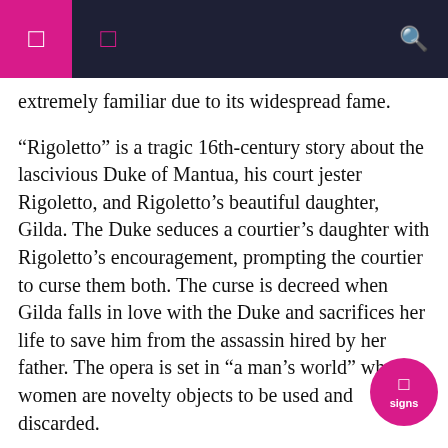navigation header with icons
extremely familiar due to its widespread fame.
“Rigoletto” is a tragic 16th-century story about the lascivious Duke of Mantua, his court jester Rigoletto, and Rigoletto’s beautiful daughter, Gilda. The Duke seduces a courtier’s daughter with Rigoletto’s encouragement, prompting the courtier to curse them both. The curse is decreed when Gilda falls in love with the Duke and sacrifices her life to save him from the assassin hired by her father. The opera is set in “a man’s world” where women are novelty objects to be used and discarded.
Director Michael Mayer’s Met Opera production is set in a 1960s Las Vegas casino. The very first stage has red backlighting, projecting an image of the silhouettes of the 40 standing performers. Then, a flash later, the Vegas signs light up, bam! Everything is in motion; feathered dancers